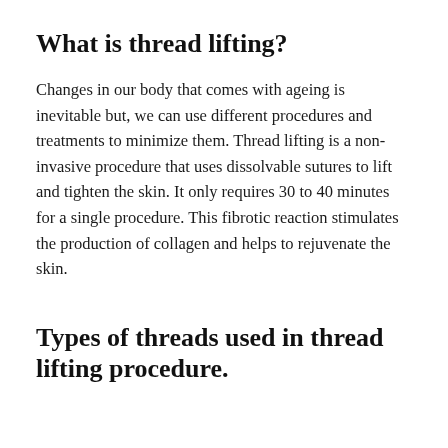What is thread lifting?
Changes in our body that comes with ageing is inevitable but, we can use different procedures and treatments to minimize them. Thread lifting is a non-invasive procedure that uses dissolvable sutures to lift and tighten the skin. It only requires 30 to 40 minutes for a single procedure. This fibrotic reaction stimulates the production of collagen and helps to rejuvenate the skin.
Types of threads used in thread lifting procedure.